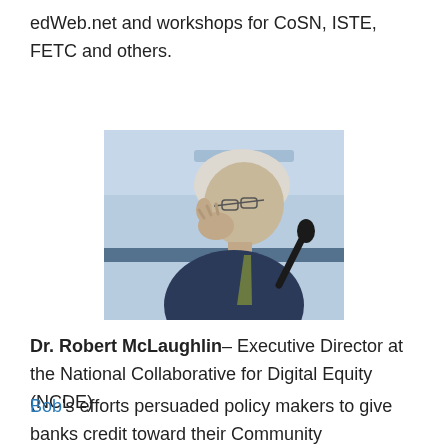edWeb.net and workshops for CoSN, ISTE, FETC and others.
[Figure (photo): Elderly man with grey hair speaking at a podium or conference, viewed from the side profile, wearing a dark suit, with a microphone in front. Blue background suggests a presentation screen.]
Dr. Robert McLaughlin– Executive Director at the National Collaborative for Digital Equity (NCDE)
Bob's efforts persuaded policy makers to give banks credit toward their Community Reinvestment Act requirement by investing in digital equity in lower income areas.  Bob's